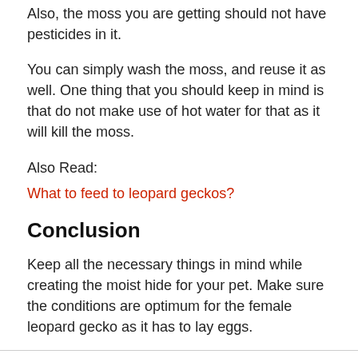Also, the moss you are getting should not have pesticides in it.
You can simply wash the moss, and reuse it as well. One thing that you should keep in mind is that do not make use of hot water for that as it will kill the moss.
Also Read:
What to feed to leopard geckos?
Conclusion
Keep all the necessary things in mind while creating the moist hide for your pet. Make sure the conditions are optimum for the female leopard gecko as it has to lay eggs.